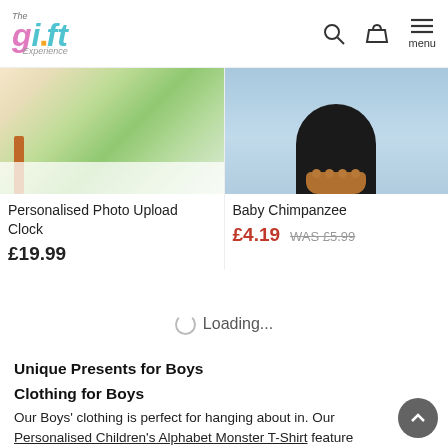[Figure (logo): The Gift Experience logo with colourful stylised text]
[Figure (photo): Partially visible photo of a Personalised Photo Upload Clock with green marbled globe design]
Personalised Photo Upload Clock
£19.99
[Figure (photo): Partially visible photo of a Baby Chimpanzee stuffed toy showing paws on blue shelves]
Baby Chimpanzee
£4.19  WAS £5.99
Loading...
Unique Presents for Boys
Clothing for Boys
Our Boys' clothing is perfect for hanging about in. Our Personalised Children's Alphabet Monster T-Shirt features